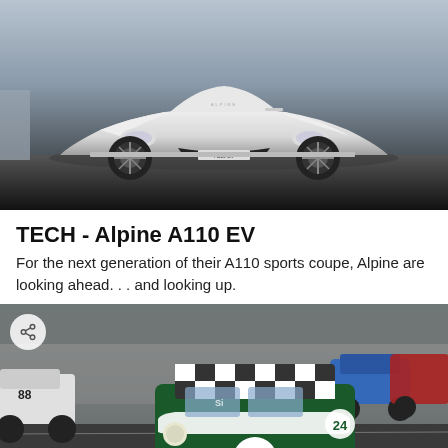[Figure (photo): White Alpine A110 EV sports coupe on a dark track background, front three-quarter view]
TECH - Alpine A110 EV
For the next generation of their A110 sports coupe, Alpine are looking ahead. . . and looking up.
[Figure (photo): Racing Mini cars on a circuit, with car number 24 in green with checkered roof pattern in the foreground, share button overlay in top-left corner]